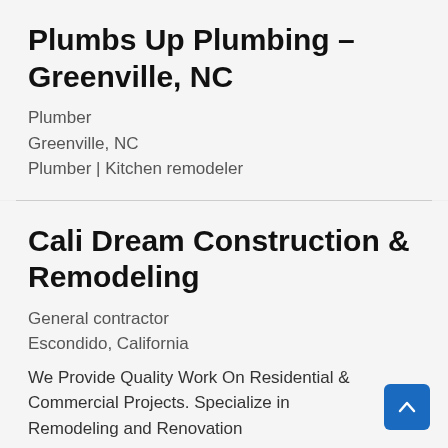Plumbs Up Plumbing – Greenville, NC
Plumber
Greenville, NC
Plumber | Kitchen remodeler
Cali Dream Construction & Remodeling
General contractor
Escondido, California
We Provide Quality Work On Residential & Commercial Projects. Specialize in Remodeling and Renovation